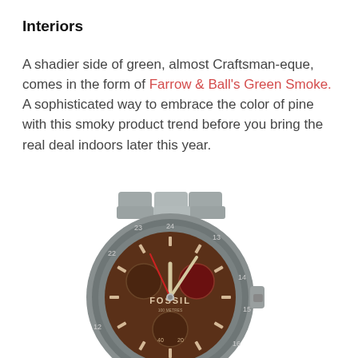Interiors
A shadier side of green, almost Craftsman-eque, comes in the form of Farrow & Ball's Green Smoke. A sophisticated way to embrace the color of pine with this smoky product trend before you bring the real deal indoors later this year.
[Figure (photo): A Fossil chronograph watch with a brown dial, silver-tone stainless steel bracelet, and bezel with 12–24 hour markings.]